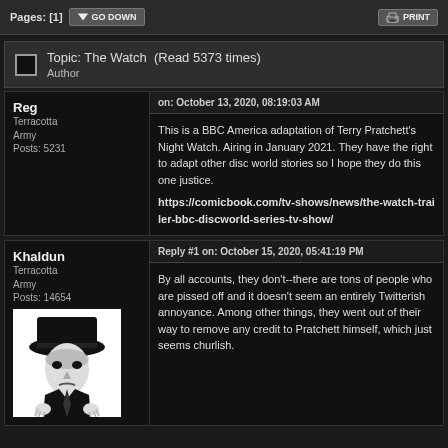Pages: [1]  GO DOWN    PRINT
Topic: The Watch  (Read 5373 times)
Author
Reg
Terracotta Army
Posts: 5231
on: October 13, 2020, 08:19:03 AM
This is a BBC America adaptation of Terry Pratchett's Night Watch. Airing in January 2021. They have the right to adapt other disc world stories so I hope they do this one justice.

https://comicbook.com/tv-shows/news/the-watch-trailer-bbc-discworld-series-tv-show/
Khaldun
Terracotta Army
Posts: 14654
Reply #1 on: October 15, 2020, 05:41:19 PM
By all accounts, they don't--there are tons of people who are pissed off and it doesn't seem an entirely Twitterish annoyance. Among other things, they went out of their way to remove any credit to Pratchett himself, which just seems churlish.
[Figure (illustration): Black and white illustration of a noir-style figure in a hat and suit]